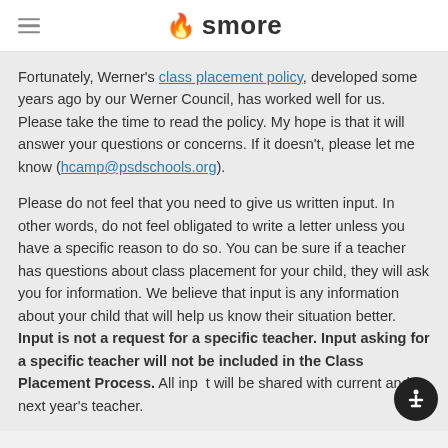smore
Fortunately, Werner's class placement policy, developed some years ago by our Werner Council, has worked well for us. Please take the time to read the policy. My hope is that it will answer your questions or concerns. If it doesn't, please let me know (hcamp@psdschools.org).
Please do not feel that you need to give us written input. In other words, do not feel obligated to write a letter unless you have a specific reason to do so. You can be sure if a teacher has questions about class placement for your child, they will ask you for information. We believe that input is any information about your child that will help us know their situation better. Input is not a request for a specific teacher. Input asking for a specific teacher will not be included in the Class Placement Process. All input will be shared with current and next year's teacher.